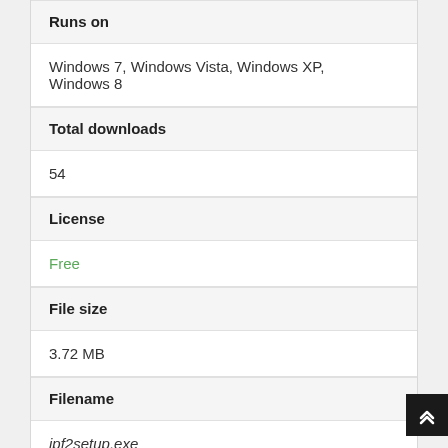Runs on
Windows 7, Windows Vista, Windows XP, Windows 8
Total downloads
54
License
Free
File size
3.72 MB
Filename
jpf2setup.exe